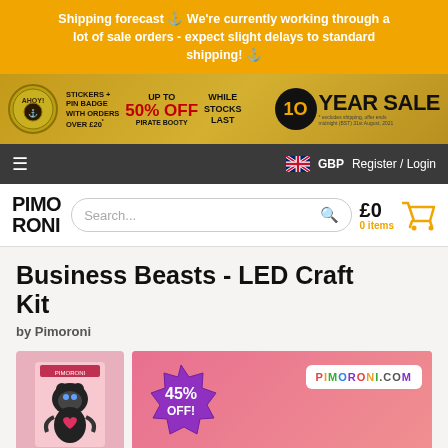Shipping forecast ⚓ We're currently working through a lot of sale orders - expect slight delays to standard shipping! ⚓
[Figure (screenshot): Sale banner: AHOY! logo, STICKERS + PIN BADGE WITH ORDERS OVER £20, UP TO 50% OFF PIRATE BOOTY, WHILE STOCKS LAST, 10 YEAR SALE]
≡  🇬🇧 GBP  Register / Login
[Figure (screenshot): Pimoroni header with logo, search bar, and cart showing £0 0 items]
Business Beasts - LED Craft Kit
by Pimoroni
[Figure (photo): Product images: thumbnail of LED craft kit bear character, main image with 45% OFF badge and PIMORONI.COM text on pink background]